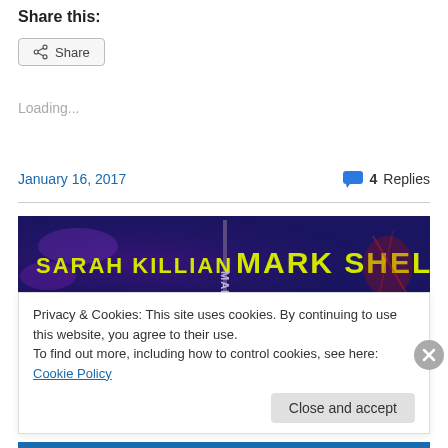Share this:
[Figure (screenshot): Share button with share icon]
Loading...
January 16, 2017
4 Replies
[Figure (illustration): Book banner showing 'SARAH KILLIAN' and 'MARK SHELDON' in yellow text on dark purple/blue background]
Privacy & Cookies: This site uses cookies. By continuing to use this website, you agree to their use.
To find out more, including how to control cookies, see here: Cookie Policy
Close and accept